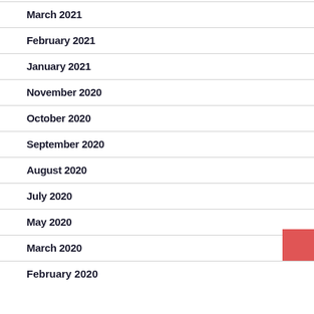March 2021
February 2021
January 2021
November 2020
October 2020
September 2020
August 2020
July 2020
May 2020
March 2020
February 2020